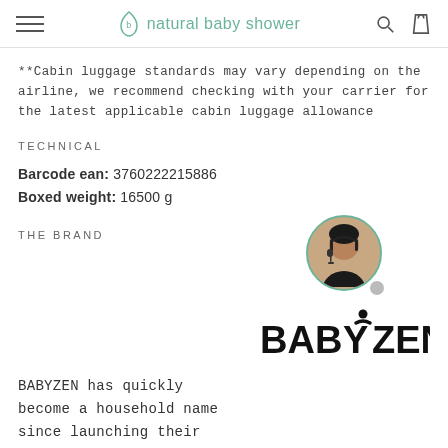natural baby shower
**Cabin luggage standards may vary depending on the airline, we recommend checking with your carrier for the latest applicable cabin luggage allowance
TECHNICAL
Barcode ean: 3760222215886
Boxed weight: 16500 g
THE BRAND
[Figure (photo): Customer support agent avatar photo in circular frame with green border]
[Figure (logo): BABYZEN brand logo in black bold text]
BABYZEN has quickly become a household name since launching their worldwide famous, sleekly designed YOYO It boasts been released in 2012 The